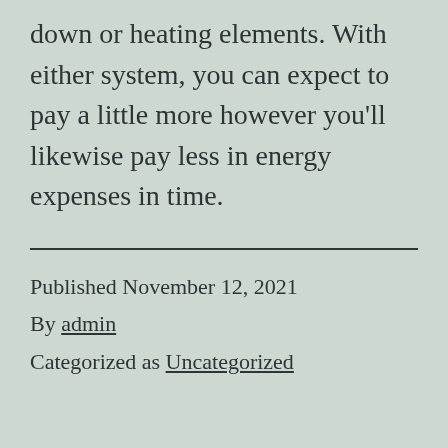down or heating elements. With either system, you can expect to pay a little more however you'll likewise pay less in energy expenses in time.
Published November 12, 2021
By admin
Categorized as Uncategorized